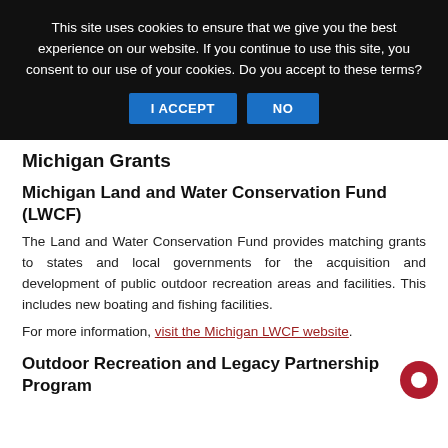This site uses cookies to ensure that we give you the best experience on our website. If you continue to use this site, you consent to our use of your cookies. Do you accept to these terms? I ACCEPT  NO
Michigan Grants
Michigan Land and Water Conservation Fund (LWCF)
The Land and Water Conservation Fund provides matching grants to states and local governments for the acquisition and development of public outdoor recreation areas and facilities. This includes new boating and fishing facilities.
For more information, visit the Michigan LWCF website.
Outdoor Recreation and Legacy Partnership Program